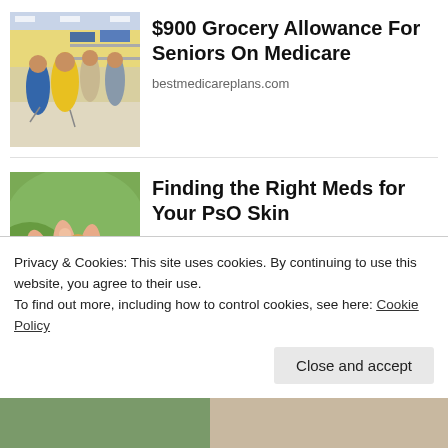[Figure (photo): People shopping in a grocery store, viewed from behind, pushing carts down a wide aisle.]
$900 Grocery Allowance For Seniors On Medicare
bestmedicareplans.com
[Figure (photo): Close-up of a hand holding a small pill or droplet, with a green background.]
Finding the Right Meds for Your PsO Skin
HealthCentral.com
Privacy & Cookies: This site uses cookies. By continuing to use this website, you agree to their use.
To find out more, including how to control cookies, see here: Cookie Policy
Close and accept
[Figure (photo): Partial view of a third advertisement image at the bottom of the page.]